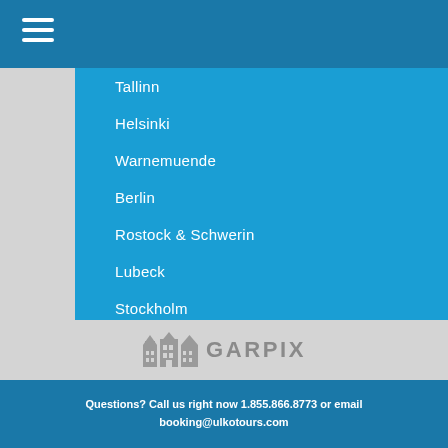≡
Tallinn
Helsinki
Warnemuende
Berlin
Rostock & Schwerin
Lubeck
Stockholm
Oslo
Copenhagen
Gdansk
Klaipeda
Aarhus
Riga
Vilnius
Amsterdam
Novgorod
[Figure (logo): Garpix logo with building icons in gray]
Questions? Call us right now 1.855.866.8773 or email booking@ulkotours.com